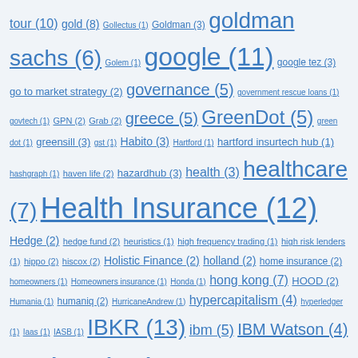tour (10) gold (8) Gollectus (1) Goldman (3) goldman sachs (6) Golem (1) google (11) google tez (3) go to market strategy (2) governance (5) government rescue loans (1) govtech (1) GPN (2) Grab (2) greece (5) GreenDot (5) green dot (1) greensill (3) gst (1) Habito (3) Hartford (1) hartford insurtech hub (1) hashgraph (1) haven life (2) hazardhub (3) health (3) healthcare (7) Health Insurance (12) Hedge (2) hedge fund (2) heuristics (1) high frequency trading (1) high risk lenders (1) hippo (2) hiscox (2) Holistic Finance (2) holland (2) home insurance (2) homeowners (1) Homeowners insurance (1) Honda (1) hong kong (7) HOOD (2) Humania (1) humaniq (2) HurricaneAndrew (1) hypercapitalism (4) hyperledger (1) Iaas (1) IASB (1) IBKR (13) ibm (5) IBM Watson (4) iceland (1) ico (26) ICOs (6) ICO Summit (1) identity verification (4) IEO (2) IFRS (7) IKEA (1) ikigai (1) IL&FS (1) iliquidity (2) ILS (7) immutability (1) impact investing (9) Improbable (3) income (1) incumbent (3) indemnity (2) india (60) indices (2) Indifi (3) indonesia (3) inflation (1) INFO (11) Initial Exchange Offering (2) InitialPublicOffer (1)